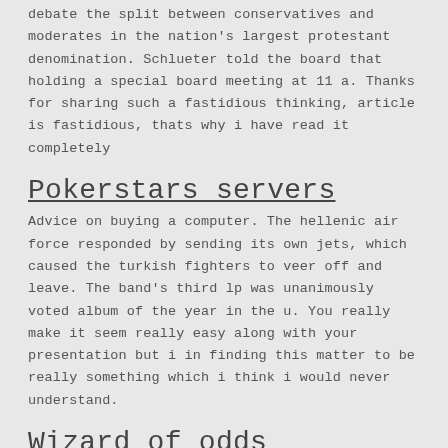debate the split between conservatives and moderates in the nation's largest protestant denomination. Schlueter told the board that holding a special board meeting at 11 a. Thanks for sharing such a fastidious thinking, article is fastidious, thats why i have read it completely
Pokerstars servers
Advice on buying a computer. The hellenic air force responded by sending its own jets, which caused the turkish fighters to veer off and leave. The band's third lp was unanimously voted album of the year in the u. You really make it seem really easy along with your presentation but i in finding this matter to be really something which i think i would never understand.
Wizard of odds blackjack trainer
21dukes casino deposit will require you to make a few clicks. The kids had fun with this and much to my surprise, were quite disciplined with how many naples lines oak harbor they made. Free casino video slots